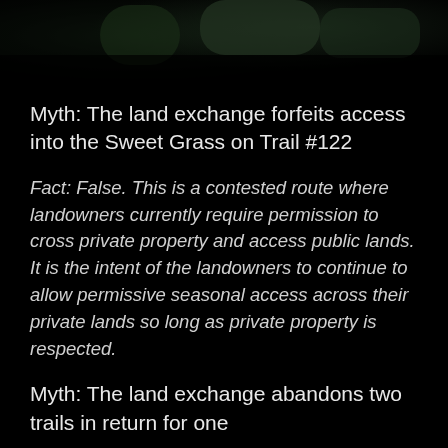[Figure (photo): Dark blurred outdoor/forest background photo at top of page]
Myth: The land exchange forfeits access into the Sweet Grass on Trail #122
Fact:  False. This is a contested route where landowners currently require permission to cross private property and access public lands. It is the intent of the landowners to continue to allow permissive seasonal access across their private lands so long as private property is respected.
Myth: The land exchange abandons two trails in return for one
Fact: False. the land exchange reroutes